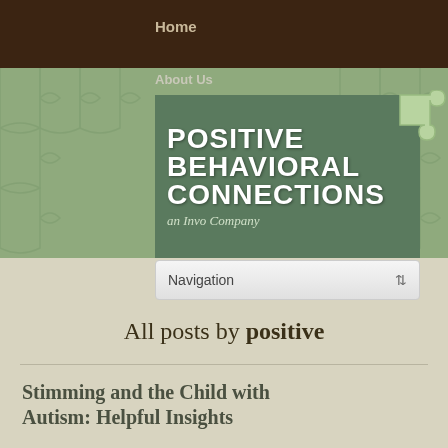Home
About Us
[Figure (logo): Positive Behavioral Connections logo — green rectangle with white bold text reading POSITIVE BEHAVIORAL CONNECTIONS, subtitle 'an Invo Company', green puzzle piece icon to the right, set on a sage green puzzle-patterned background.]
Navigation
All posts by positive
Stimming and the Child with Autism: Helpful Insights